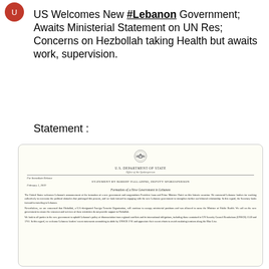US Welcomes New #Lebanon Government; Awaits Ministerial Statement on UN Res; Concerns on Hezbollah taking Health but awaits work, supervision.
Statement :
[Figure (screenshot): U.S. Department of State official statement document showing seal, letterhead, and text about Formation of a New Government in Lebanon by Robert Palladino, Deputy Spokesperson, February 1, 2019]